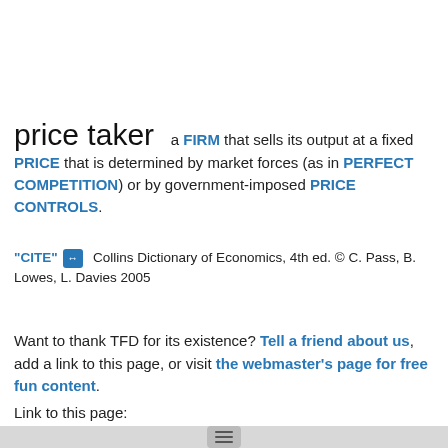price taker
a FIRM that sells its output at a fixed PRICE that is determined by market forces (as in PERFECT COMPETITION) or by government-imposed PRICE CONTROLS.
"CITE" [link icon]  Collins Dictionary of Economics, 4th ed. © C. Pass, B. Lowes, L. Davies 2005
Want to thank TFD for its existence? Tell a friend about us, add a link to this page, or visit the webmaster's page for free fun content.
Link to this page: